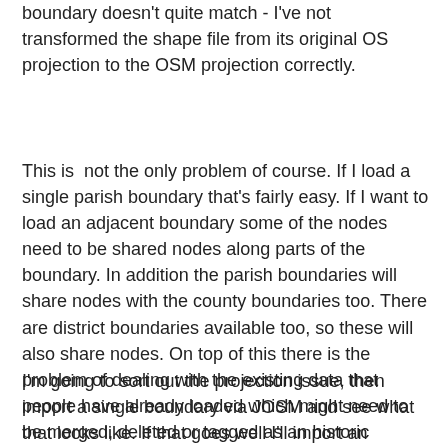boundary doesn't quite match - I've not transformed the shape file from its original OS projection to the OSM projection correctly.
This is  not the only problem of course. If I load a single parish boundary that's fairly easy. If I want to load an adjacent boundary some of the nodes need to be shared nodes along parts of the boundary. In addition the parish boundaries will share nodes with the county boundaries too. There are district boundaries available too, so these will also share nodes. On top of this there is the problem of dealing with the existing data that people have already loaded which might need to be merged, deleted or tagged as an historic boundary. This alone makes it important that each boundary is processed by someone who can make decisions about what to merge etc.
I'm going to sort out the projection issue, then import a single boundary via JOSM and see what that looks like. If that goes well I'll import an adjacent boundary and see what it takes to merge the shared nodes.